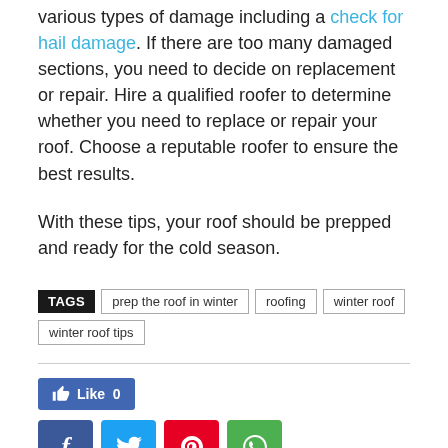various types of damage including a check for hail damage. If there are too many damaged sections, you need to decide on replacement or repair. Hire a qualified roofer to determine whether you need to replace or repair your roof. Choose a reputable roofer to ensure the best results.
With these tips, your roof should be prepped and ready for the cold season.
TAGS: prep the roof in winter | roofing | winter roof | winter roof tips
[Figure (other): Facebook Like button showing Like 0, followed by social share buttons for Facebook, Twitter, Pinterest, and WhatsApp]